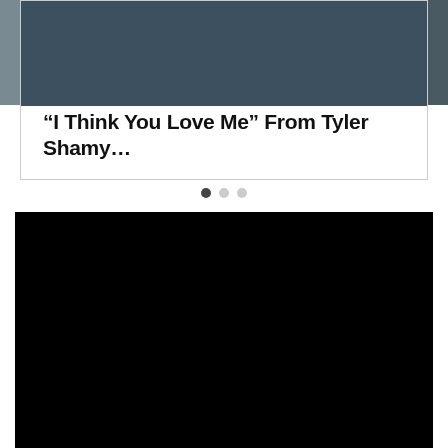[Figure (screenshot): A screenshot of a website/blog carousel showing a card with a photo of a person wearing a black top and floral jacket, with text headline '“I Think You Love Me” From Tyler Shamy…' and three pagination dots below the card.]
[Figure (photo): A large black rectangle occupying the lower half of the page, representing a dark/black image or video placeholder.]